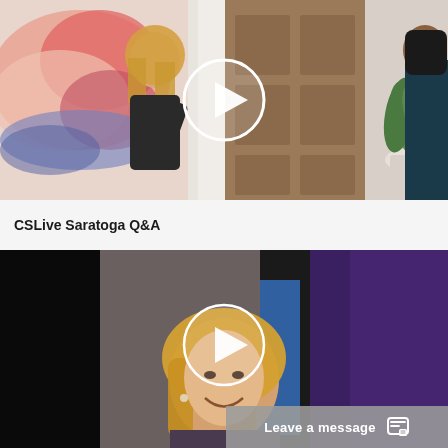[Figure (screenshot): Video thumbnail showing two women in a room with colorful abstract wall art on the left and a wooden door with a potted plant on the right. A white play button circle is centered over the image.]
CSLive Saratoga Q&A
[Figure (screenshot): Video thumbnail showing a blonde woman smiling in a dimly lit room with blue and purple panels in the background. A white play button circle is centered over the image.]
Leave a message